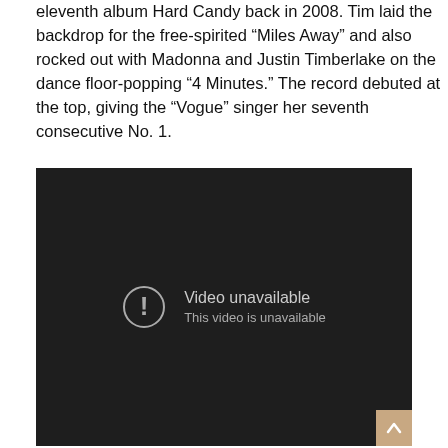eleventh album Hard Candy back in 2008. Tim laid the backdrop for the free-spirited “Miles Away” and also rocked out with Madonna and Justin Timberlake on the dance floor-popping “4 Minutes.” The record debuted at the top, giving the “Vogue” singer her seventh consecutive No. 1.
[Figure (screenshot): Embedded video player showing 'Video unavailable - This video is unavailable' error message on a dark background.]